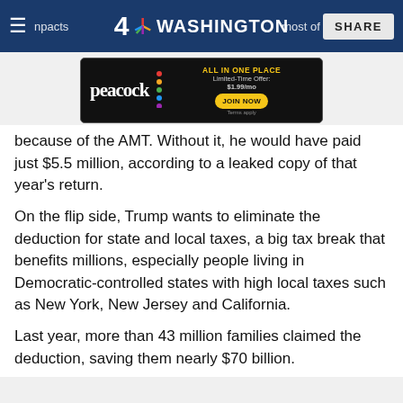4 NBC WASHINGTON | SHARE
[Figure (screenshot): Peacock streaming service advertisement banner: ALL IN ONE PLACE, Limited-Time Offer: $1.99/mo, JOIN NOW, Terms apply]
...because of the AMT. Without it, he would have paid just $5.5 million, according to a leaked copy of that year's return.
On the flip side, Trump wants to eliminate the deduction for state and local taxes, a big tax break that benefits millions, especially people living in Democratic-controlled states with high local taxes such as New York, New Jersey and California.
Last year, more than 43 million families claimed the deduction, saving them nearly $70 billion.